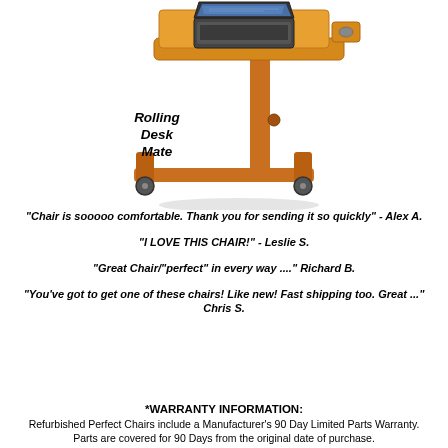[Figure (photo): Product photo of a wooden rolling desk/laptop table on casters with an adjustable height post and a tilting surface holding a laptop computer. The table has a warm honey/oak wood finish.]
Rolling Desk Mate
"Chair is sooooo comfortable. Thank you for sending it so quickly" - Alex A.
"I LOVE THIS CHAIR!" - Leslie S.
"Great Chair/"perfect" in every way ...." Richard B.
"You've got to get one of these chairs! Like new! Fast shipping too. Great ..." Chris S.
*WARRANTY INFORMATION:
Refurbished Perfect Chairs include a Manufacturer's 90 Day Limited Parts Warranty. Parts are covered for 90 Days from the original date of purchase.